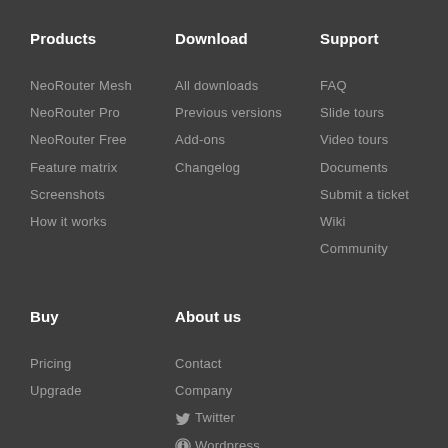Products
NeoRouter Mesh
NeoRouter Pro
NeoRouter Free
Feature matrix
Screenshots
How it works
Download
All downloads
Previous versions
Add-ons
Changelog
Support
FAQ
Slide tours
Video tours
Documents
Submit a ticket
Wiki
Community
Buy
Pricing
Upgrade
About us
Contact
Company
Twitter
Wordpress
Blogger